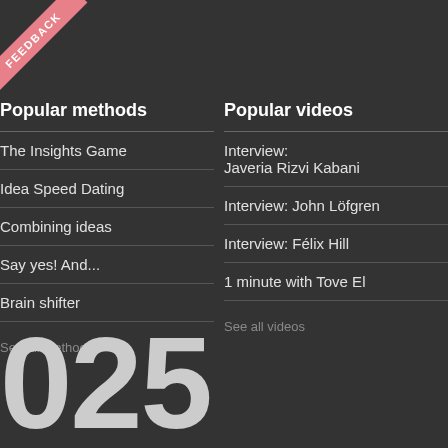[Figure (other): Pink diagonal FEEDBACK ribbon in top-left corner]
Popular methods
The Insights Game
Idea Speed Dating
Combining ideas
Say yes! And...
Brain shifter
See all methods
Popular videos
Interview: Javeria Rizvi Kabani
Interview: John Löfgren
Interview: Félix Hill
1 minute with Tove El
See all videos
025